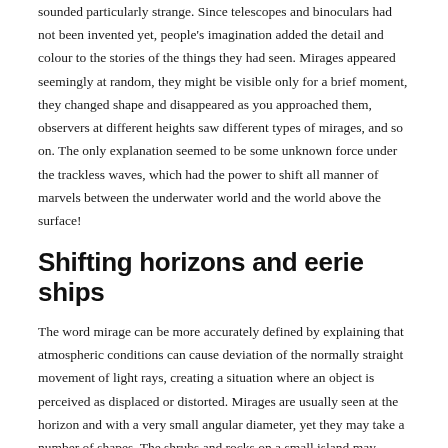sounded particularly strange. Since telescopes and binoculars had not been invented yet, people's imagination added the detail and colour to the stories of the things they had seen. Mirages appeared seemingly at random, they might be visible only for a brief moment, they changed shape and disappeared as you approached them, observers at different heights saw different types of mirages, and so on. The only explanation seemed to be some unknown force under the trackless waves, which had the power to shift all manner of marvels between the underwater world and the world above the surface!
Shifting horizons and eerie ships
The word mirage can be more accurately defined by explaining that atmospheric conditions can cause deviation of the normally straight movement of light rays, creating a situation where an object is perceived as displaced or distorted. Mirages are usually seen at the horizon and with a very small angular diameter, yet they may take a number of shapes. The shrubs and rocks on a small island may tower into the sky; low, sloping shores may be vertically stretched so they look like precipices; a ship and its deck superstructures may distort into unidentifiable boxy shapes; entire